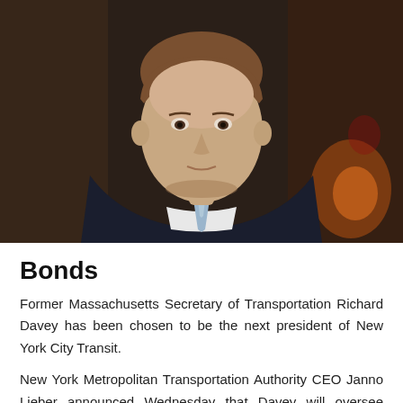[Figure (photo): Professional headshot photograph of a man in a dark suit with a light blue tie, against a blurred warm background]
Bonds
Former Massachusetts Secretary of Transportation Richard Davey has been chosen to be the next president of New York City Transit.
New York Metropolitan Transportation Authority CEO Janno Lieber announced Wednesday that Davey will oversee operations for the city's subways, buses, paratransit services and the Staten Island Railway.